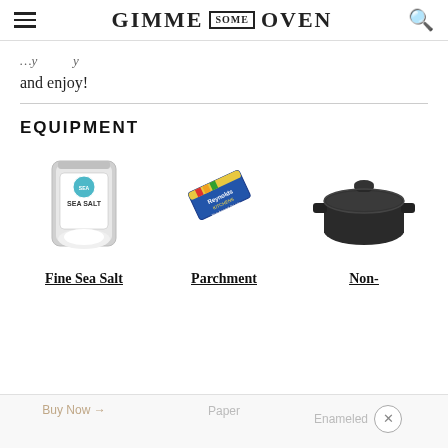GIMME SOME OVEN
and enjoy!
EQUIPMENT
[Figure (photo): Bag of Fine Sea Salt product photo]
[Figure (photo): Box of Reynolds Kitchens Parchment Paper product photo]
[Figure (photo): Black cast iron Dutch oven with lid product photo]
Fine Sea Salt
Parchment
Non-
Buy Now →
Paper
Enameled
Dutch Ove...